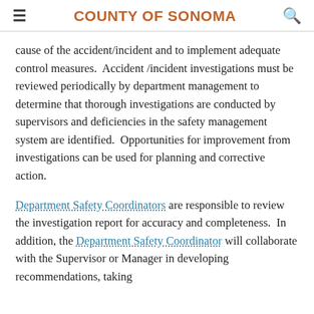COUNTY OF SONOMA
cause of the accident/incident and to implement adequate control measures.  Accident /incident investigations must be reviewed periodically by department management to determine that thorough investigations are conducted by supervisors and deficiencies in the safety management system are identified.  Opportunities for improvement from investigations can be used for planning and corrective action.
Department Safety Coordinators are responsible to review the investigation report for accuracy and completeness.  In addition, the Department Safety Coordinator will collaborate with the Supervisor or Manager in developing recommendations, taking